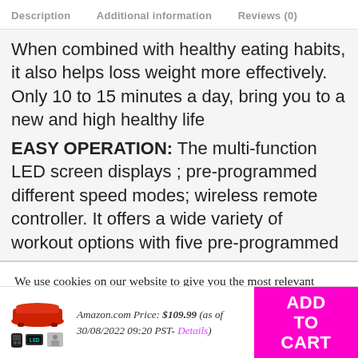Description   Additional information   Reviews (0)
When combined with healthy eating habits, it also helps loss weight more effectively. Only 10 to 15 minutes a day, bring you to a new and high healthy life
EASY OPERATION: The multi-function LED screen displays ; pre-programmed different speed modes; wireless remote controller. It offers a wide variety of workout options with five pre-programmed
We use cookies on our website to give you the most relevant experience by remembering your preferences and repeat visits. By clicking “Accept All”, you consent to the use of ALL the cookies. However, you may visit
Amazon.com Price: $109.99 (as of 30/08/2022 09:20 PST- Details)